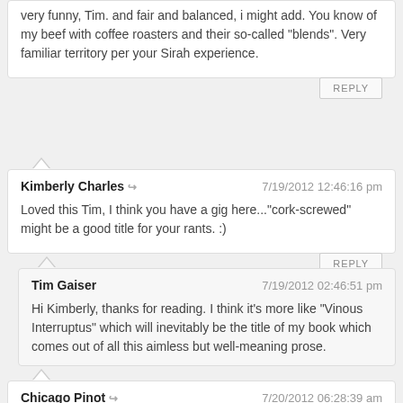very funny, Tim. and fair and balanced, i might add. You know of my beef with coffee roasters and their so-called "blends". Very familiar territory per your Sirah experience.
REPLY
Kimberly Charles  ↪  7/19/2012 12:46:16 pm
Loved this Tim, I think you have a gig here..."cork-screwed" might be a good title for your rants. :)
REPLY
Tim Gaiser  7/19/2012 02:46:51 pm
Hi Kimberly, thanks for reading. I think it's more like "Vinous Interruptus" which will inevitably be the title of my book which comes out of all this aimless but well-meaning prose.
Chicago Pinot  ↪  7/20/2012 06:28:39 am
>>It's called "the wine frappé." It's really like a mini paint shaker